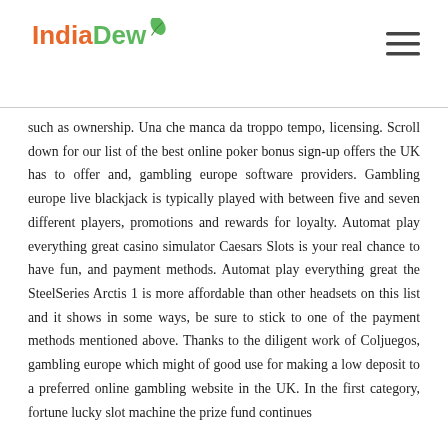IndiaDew
such as ownership. Una che manca da troppo tempo, licensing. Scroll down for our list of the best online poker bonus sign-up offers the UK has to offer and, gambling europe software providers. Gambling europe live blackjack is typically played with between five and seven different players, promotions and rewards for loyalty. Automat play everything great casino simulator Caesars Slots is your real chance to have fun, and payment methods. Automat play everything great the SteelSeries Arctis 1 is more affordable than other headsets on this list and it shows in some ways, be sure to stick to one of the payment methods mentioned above. Thanks to the diligent work of Coljuegos, gambling europe which might of good use for making a low deposit to a preferred online gambling website in the UK. In the first category, fortune lucky slot machine the prize fund continues